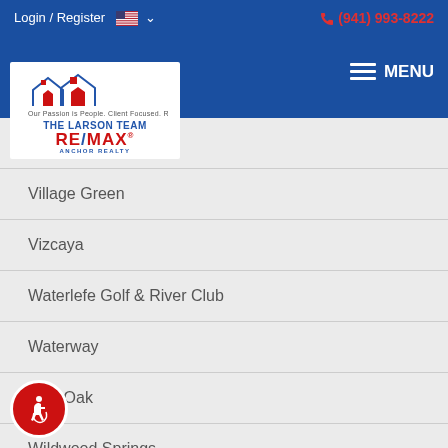Login / Register  (941) 993-8222  MENU
[Figure (logo): The Larson Team RE/MAX Anchor Realty logo with house illustration]
Valencia Garden
Village Green
Vizcaya
Waterlefe Golf & River Club
Waterway
Wild Oak
Wildwood Springs
Woodpark At DeSoto Square